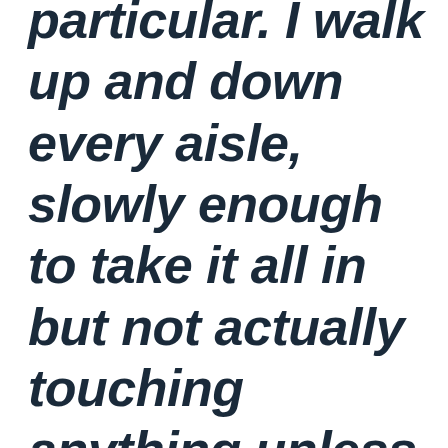particular. I walk up and down every aisle, slowly enough to take it all in but not actually touching anything unless it speaks to me. The aisle ends are overflowing with